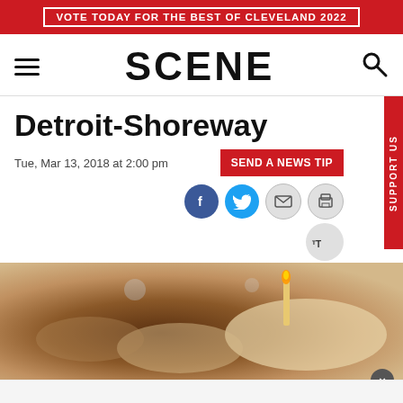VOTE TODAY FOR THE BEST OF CLEVELAND 2022
SCENE
Detroit-Shoreway
Tue, Mar 13, 2018 at 2:00 pm
SEND A NEWS TIP
SUPPORT US
[Figure (photo): Close-up blurred photo of food items on a dark wooden surface, with a candle flame visible in the background. Warm brown and cream tones.]
×